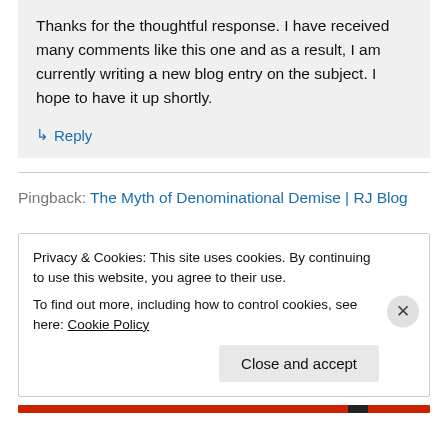Thanks for the thoughtful response. I have received many comments like this one and as a result, I am currently writing a new blog entry on the subject. I hope to have it up shortly.
↳ Reply
Pingback: The Myth of Denominational Demise | RJ Blog
Privacy & Cookies: This site uses cookies. By continuing to use this website, you agree to their use.
To find out more, including how to control cookies, see here: Cookie Policy
Close and accept